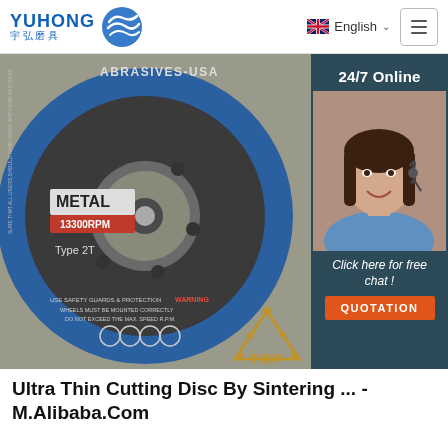[Figure (logo): YUHONG 宇弘磨具 logo with blue wave icon]
[Figure (photo): Close-up photo of a blue metal cutting disc labeled ABRASIVES-USA, METAL, Type 2T, with safety warnings. Overlay panel on right showing 24/7 Online customer service agent photo with 'Click here for free chat!' text and orange QUOTATION button. TOP badge in lower right corner.]
Ultra Thin Cutting Disc By Sintering ... - M.Alibaba.Com